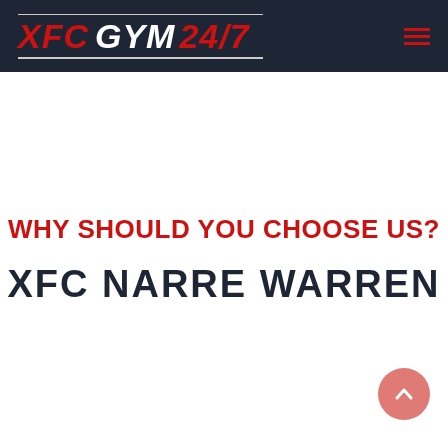XFC GYM 24/7
WHY SHOULD YOU CHOOSE US?
XFC NARRE WARREN